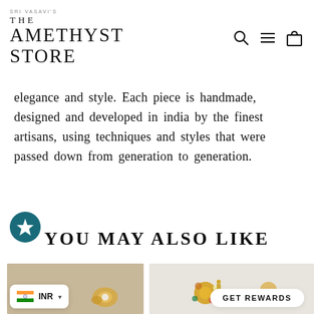SRI VASAVI'S THE AMETHYST STORE
elegance and style. Each piece is handmade, designed and developed in india by the finest artisans, using techniques and styles that were passed down from generation to generation.
YOU MAY ALSO LIKE
[Figure (photo): Jewelry product photo - gold earring with pearl on beige background]
[Figure (photo): Jewelry product photo - gold floral brooch with colored stones on white background]
INR
GET REWARDS